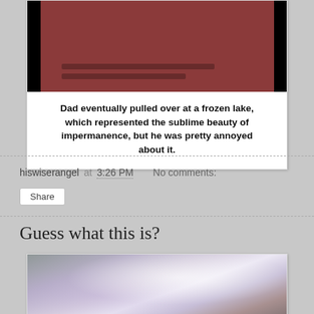[Figure (photo): Comic panel image showing a dark scene with a reddish-brown shape against black background]
Dad eventually pulled over at a frozen lake, which represented the sublime beauty of impermanence, but he was pretty annoyed about it.
hiswiserangel at 3:26 PM   No comments:
Share
Guess what this is?
[Figure (photo): A blurry close-up photograph of an unidentified object with pinkish-white and purple tones]